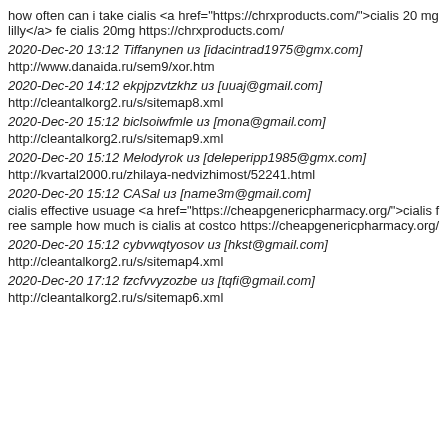how often can i take cialis <a href="https://chrxproducts.com/">cialis 20 mg lilly</a> fe cialis 20mg https://chrxproducts.com/
2020-Dec-20 13:12 Tiffanynen из [idacintrad1975@gmx.com]
http://www.danaida.ru/sem9/xor.htm
2020-Dec-20 14:12 ekpjpzvtzkhz из [uuaj@gmail.com]
http://cleantalkorg2.ru/s/sitemap8.xml
2020-Dec-20 15:12 biclsoiwfmle из [mona@gmail.com]
http://cleantalkorg2.ru/s/sitemap9.xml
2020-Dec-20 15:12 Melodyrok из [deleperipp1985@gmx.com]
http://kvartal2000.ru/zhilaya-nedvizhimost/52241.html
2020-Dec-20 15:12 CASal из [name3m@gmail.com]
cialis effective usuage <a href="https://cheapgenericpharmacy.org/">cialis free sample how much is cialis at costco https://cheapgenericpharmacy.org/
2020-Dec-20 15:12 cybvwqtyosov из [hkst@gmail.com]
http://cleantalkorg2.ru/s/sitemap4.xml
2020-Dec-20 17:12 fzcfvvyzozbe из [tqfi@gmail.com]
http://cleantalkorg2.ru/s/sitemap6.xml